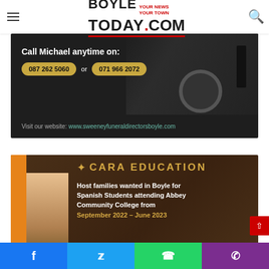BoyleToday.com — YOUR NEWS YOUR TOWN
[Figure (photo): Sweeney Funeral Directors advertisement on dark background showing a hearse. Text reads: Call Michael anytime on: 087 262 5060 or 071 966 2072. Visit our website: www.sweeneyfuneraldirectorsboyle.com]
[Figure (photo): Cara Education advertisement on dark brown background with orange side panel. Logo with decorative symbol and CARA EDUCATION in gold letters. Text: Host families wanted in Boyle for Spanish Students attending Abbey Community College from September 2022 - June 2023. Photo of a smiling girl on left side.]
Facebook | Twitter | WhatsApp | Phone social sharing bar